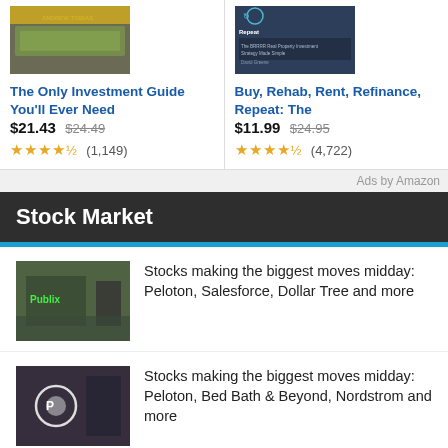[Figure (photo): Book cover for The Only Investment Guide You'll Ever Need by Andrew Tobias]
The Only Investment Guide You'll Ever Need
$21.43 $24.49 ★★★★½ (1,149)
[Figure (photo): Book cover for Buy, Rehab, Rent, Refinance, Repeat]
Buy, Rehab, Rent, Refinance, Repeat: The
$11.99 $24.95 ★★★★½ (4,722)
Ads by Amazon
Stock Market
[Figure (photo): Photo of a store front with green sign, parking lot with cars]
Stocks making the biggest moves midday: Peloton, Salesforce, Dollar Tree and more
[Figure (photo): Photo of a Peloton store front with logo]
Stocks making the biggest moves midday: Peloton, Bed Bath & Beyond, Nordstrom and more